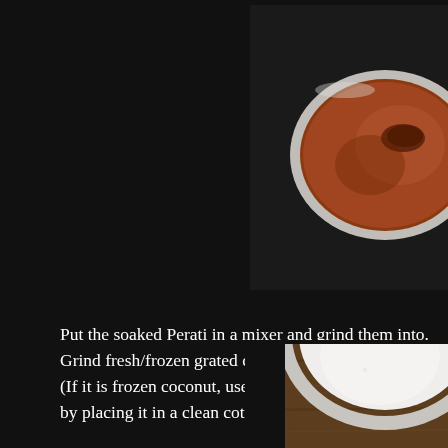[Figure (photo): Top-down view of a metal bowl/pan containing brown curry or sauce with a piece of fish/meat visible, on a dark background]
Put the soaked Perati in a mixer and grind them into. Grind fresh/frozen grated coconut into smooth paste. (If it is frozen coconut, use warm water while grindi by placing it in a clean cotton cloth.
[Figure (photo): Top-down view of a metal bowl/container filled with white coconut milk or coconut paste, on a wooden surface]